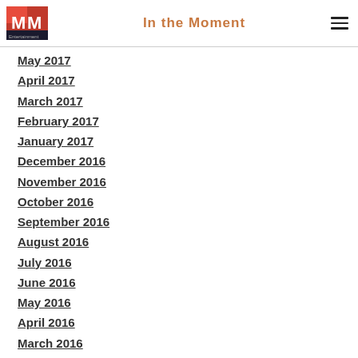In the Moment
May 2017
April 2017
March 2017
February 2017
January 2017
December 2016
November 2016
October 2016
September 2016
August 2016
July 2016
June 2016
May 2016
April 2016
March 2016
February 2016
January 2016